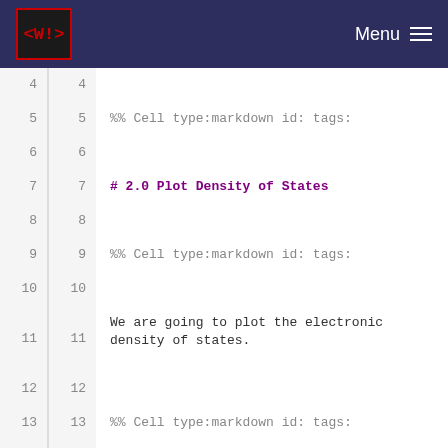<W!> Menu
4
4
5  5  %% Cell type:markdown id: tags:
6
6
7  7  # 2.0 Plot Density of States
8
8
9  9  %% Cell type:markdown id: tags:
10  10
11  11  We are going to plot the electronic density of states.
12  12
13  13  %% Cell type:markdown id: tags:
14  14
15  15  ## Step 1: Load westpy
16  16
17  17  %% Cell type:code id: tags:
18  18
19  19  ``` python
20  20  from westpy import *
21  21  ```
22  22